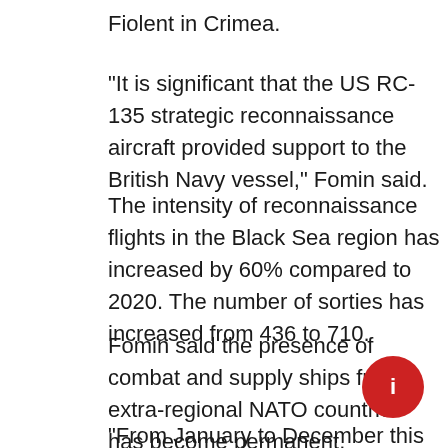Fiolent in Crimea.
“It is significant that the US RC-135 strategic reconnaissance aircraft provided support to the British Navy vessel,” Fomin said.
The intensity of reconnaissance flights in the Black Sea region has increased by 60% compared to 2020. The number of sorties has increased from 436 to 710.
Fomin said the presence of combat and supply ships from extra-regional NATO countries has become permanent.
“From January to December this year, NATO ships made 30 visits to the region, compared to 23 in 2020. The total duration of their presence reached